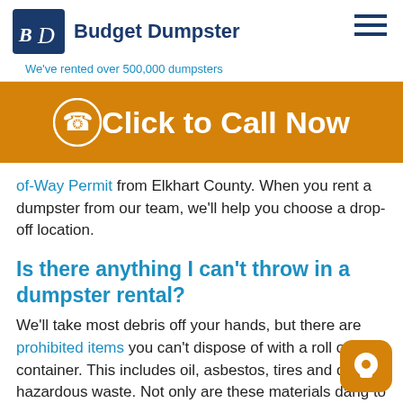Budget Dumpster — We've rented over 500,000 dumpsters
[Figure (screenshot): Click to Call Now orange banner with phone icon]
of-Way Permit from Elkhart County. When you rent a dumpster from our team, we'll help you choose a drop-off location.
Is there anything I can't throw in a dumpster rental?
We'll take most debris off your hands, but there are prohibited items you can't dispose of with a roll off container. This includes oil, asbestos, tires and other hazardous waste. Not only are these materials dang to touch, they may damage your bin as well. If you h questions about anything our roll off dumpsters can't